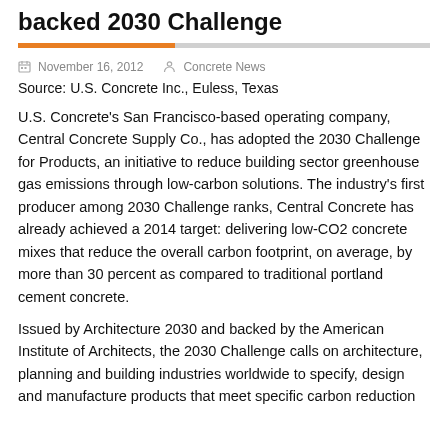backed 2030 Challenge
November 16, 2012    Concrete News
Source: U.S. Concrete Inc., Euless, Texas
U.S. Concrete's San Francisco-based operating company, Central Concrete Supply Co., has adopted the 2030 Challenge for Products, an initiative to reduce building sector greenhouse gas emissions through low-carbon solutions. The industry's first producer among 2030 Challenge ranks, Central Concrete has already achieved a 2014 target: delivering low-CO2 concrete mixes that reduce the overall carbon footprint, on average, by more than 30 percent as compared to traditional portland cement concrete.
Issued by Architecture 2030 and backed by the American Institute of Architects, the 2030 Challenge calls on architecture, planning and building industries worldwide to specify, design and manufacture products that meet specific carbon reduction